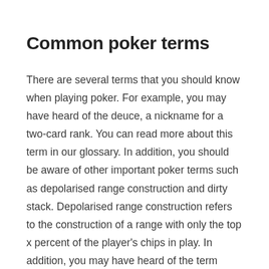Common poker terms
There are several terms that you should know when playing poker. For example, you may have heard of the deuce, a nickname for a two-card rank. You can read more about this term in our glossary. In addition, you should be aware of other important poker terms such as depolarised range construction and dirty stack. Depolarised range construction refers to the construction of a range with only the top x percent of the player's chips in play. In addition, you may have heard of the term whale, which refers to a player with an exceptionally bad poker hand. You should